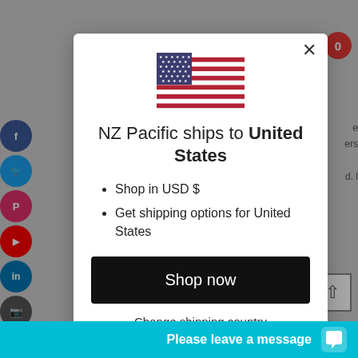[Figure (screenshot): Website modal dialog overlay on a shopping page for NZ Pacific. The modal contains a US flag, shipping destination message, currency and shipping options, a Shop now button, and a Change shipping country link. Background shows social media share icons and partial page text.]
NZ Pacific ships to United States
Shop in USD $
Get shipping options for United States
Shop now
Change shipping country
Please leave a message